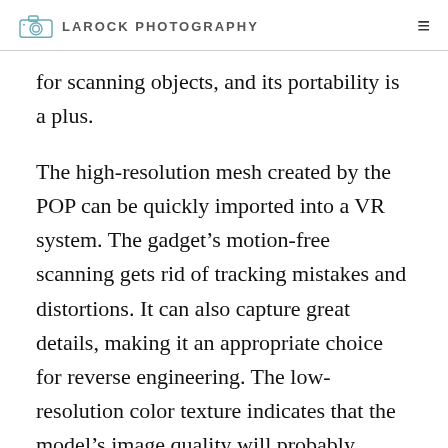LAROCK PHOTOGRAPHY
for scanning objects, and its portability is a plus.
The high-resolution mesh created by the POP can be quickly imported into a VR system. The gadget’s motion-free scanning gets rid of tracking mistakes and distortions. It can also capture great details, making it an appropriate choice for reverse engineering. The low-resolution color texture indicates that the model’s image quality will probably require some post-